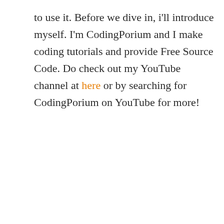to use it. Before we dive in, i'll introduce myself. I'm CodingPorium and I make coding tutorials and provide Free Source Code. Do check out my YouTube channel at here or by searching for CodingPorium on YouTube for more!